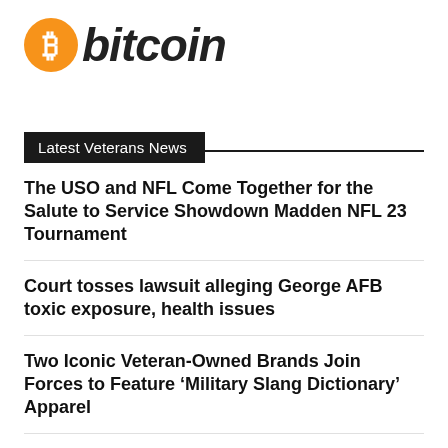[Figure (logo): Bitcoin logo: orange circle with white Bitcoin B symbol, followed by italic bold text 'bitcoin']
Latest Veterans News
The USO and NFL Come Together for the Salute to Service Showdown Madden NFL 23 Tournament
Court tosses lawsuit alleging George AFB toxic exposure, health issues
Two Iconic Veteran-Owned Brands Join Forces to Feature ‘Military Slang Dictionary’ Apparel
1,298 VA centers nationwide to get Sight Enhancing Medical Devices